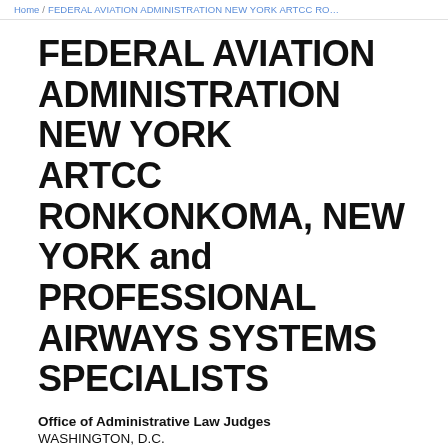Home / FEDERAL AVIATION ADMINISTRATION NEW YORK ARTCC RO…
FEDERAL AVIATION ADMINISTRATION NEW YORK ARTCC RONKONKOMA, NEW YORK and PROFESSIONAL AIRWAYS SYSTEMS SPECIALISTS
Office of Administrative Law Judges
WASHINGTON, D.C.
FEDERAL AVIATION ADMINISTRATION NEW YORK ARTCC RONKONKOMA, NEW YORK Respondent

and

PROFESSIONAL AIRWAYS SYSTEMS SPECIALISTS Charging…